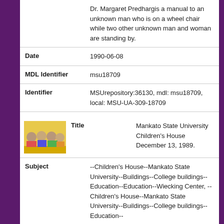Dr. Margaret Predhargis a manual to an unknown man who is on a wheel chair while two other unknown man and woman are standing by.
| Date | 1990-06-08 |
| MDL Identifier | msu18709 |
| Identifier | MSUrepository:36130, mdl: msu18709, local: MSU-UA-309-18709 |
| Title | Mankato State University Children's House December 13, 1989. |
| Subject | --Children's House--Mankato State University--Buildings--College buildings--Education--Education--Wiecking Center, --Children's House--Mankato State University--Buildings--College buildings--Education-- |